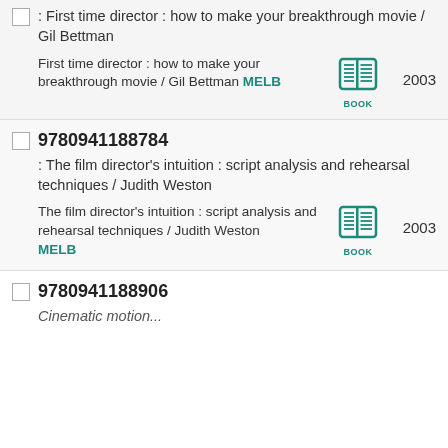: First time director : how to make your breakthrough movie / Gil Bettman
First time director : how to make your breakthrough movie / Gil Bettman MELB 2003
9780941188784
: The film director's intuition : script analysis and rehearsal techniques / Judith Weston
The film director's intuition : script analysis and rehearsal techniques / Judith Weston MELB 2003
9780941188906
Cinematic motion...